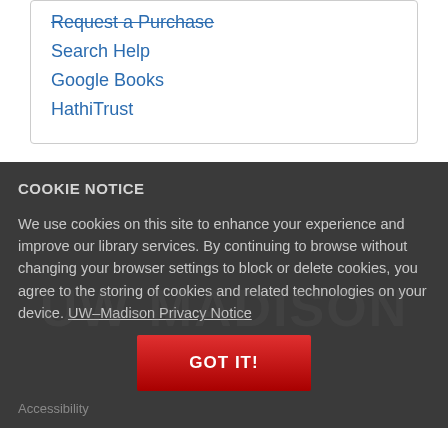Request a Purchase
Search Help
Google Books
HathiTrust
COOKIE NOTICE
We use cookies on this site to enhance your experience and improve our library services. By continuing to browse without changing your browser settings to block or delete cookies, you agree to the storing of cookies and related technologies on your device. UW–Madison Privacy Notice
GOT IT!
Accessibility